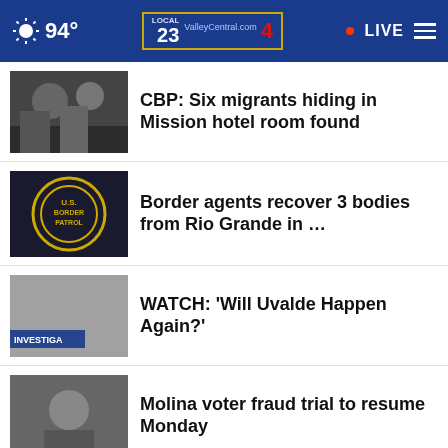94° ValleyCentral.com 23 4 LIVE
CBP: Six migrants hiding in Mission hotel room found
Border agents recover 3 bodies from Rio Grande in …
WATCH: 'Will Uvalde Happen Again?'
Molina voter fraud trial to resume Monday
Brownsville fire fighters working on warehouse fire
Never stop being a dad.